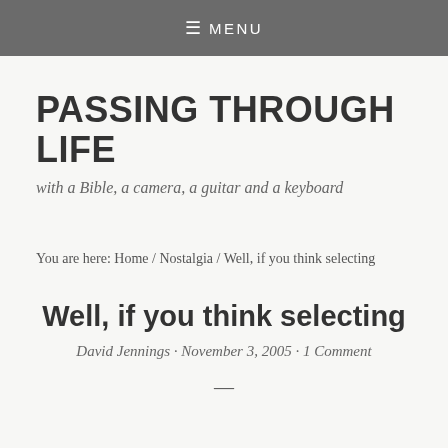≡ MENU
PASSING THROUGH LIFE
with a Bible, a camera, a guitar and a keyboard
You are here: Home / Nostalgia / Well, if you think selecting
Well, if you think selecting
David Jennings · November 3, 2005 · 1 Comment
—